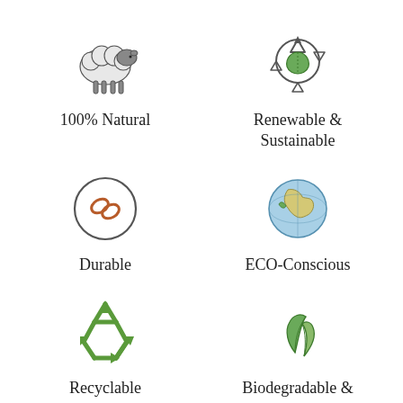[Figure (illustration): Hand-drawn sheep icon representing 100% Natural wool]
100% Natural
[Figure (illustration): Recycling arrows with green leaf icon representing Renewable & Sustainable]
Renewable & Sustainable
[Figure (illustration): Circle with chain link icon representing Durable]
Durable
[Figure (illustration): Globe/earth icon representing ECO-Conscious]
ECO-Conscious
[Figure (illustration): Green recycling triangular arrows icon representing Recyclable]
Recyclable
[Figure (illustration): Two green leaves icon representing Biodegradable & Compostable]
Biodegradable & Compostable
FIND OUT MORE